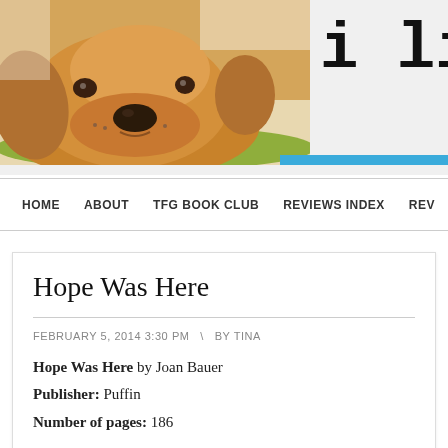[Figure (photo): Golden retriever puppy lying down with head resting on a green surface, close-up photo used as website header banner]
i like it
HOME   ABOUT   TFG BOOK CLUB   REVIEWS INDEX   REV
Hope Was Here
FEBRUARY 5, 2014 3:30 PM  \  BY TINA
Hope Was Here by Joan Bauer
Publisher: Puffin
Number of pages: 186